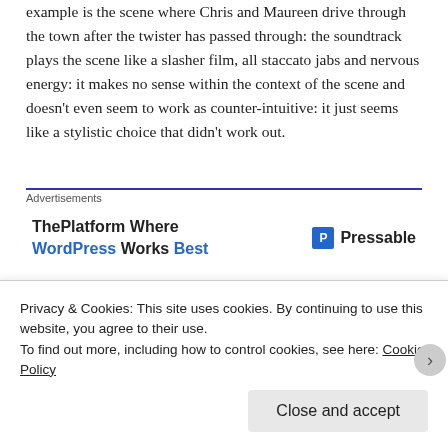example is the scene where Chris and Maureen drive through the town after the twister has passed through: the soundtrack plays the scene like a slasher film, all staccato jabs and nervous energy: it makes no sense within the context of the scene and doesn't even seem to work as counter-intuitive: it just seems like a stylistic choice that didn't work out.
[Figure (screenshot): Advertisement banner for Pressable: 'ThePlatform Where WordPress Works Best' with Pressable logo]
So, is there anything worthwhile here? Sadly, there's actually quite a bit to like in Twister, even if the parts
Privacy & Cookies: This site uses cookies. By continuing to use this website, you agree to their use.
To find out more, including how to control cookies, see here: Cookie Policy